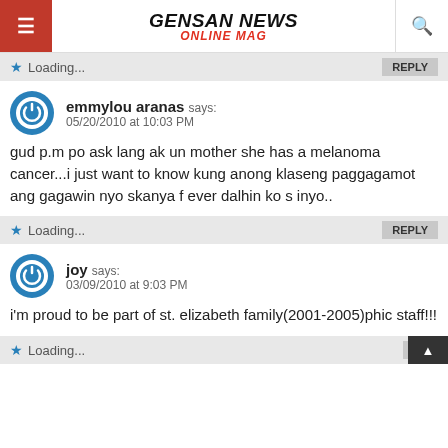GENSAN NEWS ONLINE MAG
Loading...  REPLY
emmylou aranas says:
05/20/2010 at 10:03 PM

gud p.m po ask lang ak un mother she has a melanoma cancer...i just want to know kung anong klaseng paggagamot ang gagawin nyo skanya f ever dalhin ko s inyo..

Loading...  REPLY
joy says:
03/09/2010 at 9:03 PM

i'm proud to be part of st. elizabeth family(2001-2005)phic staff!!!

Loading...  RE